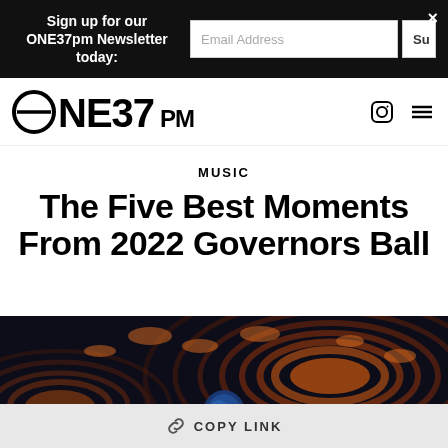Sign up for our ONE37pm Newsletter today: [Email Address input] [Su button] [X close]
ONE37PM logo with Instagram and menu icons
MUSIC
The Five Best Moments From 2022 Governors Ball
[Figure (photo): Concert photo showing a performer lit in blue light against a backdrop of glowing orange circular light patterns on a dark stage]
COPY LINK